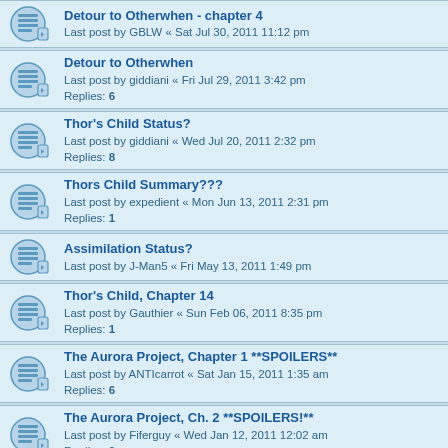Detour to Otherwhen - chapter 4
Last post by GBLW « Sat Jul 30, 2011 11:12 pm
Detour to Otherwhen
Last post by giddiani « Fri Jul 29, 2011 3:42 pm
Replies: 6
Thor's Child Status?
Last post by giddiani « Wed Jul 20, 2011 2:32 pm
Replies: 8
Thors Child Summary???
Last post by expedient « Mon Jun 13, 2011 2:31 pm
Replies: 1
Assimilation Status?
Last post by J-Man5 « Fri May 13, 2011 1:49 pm
Thor's Child, Chapter 14
Last post by Gauthier « Sun Feb 06, 2011 8:35 pm
Replies: 1
The Aurora Project, Chapter 1 **SPOILERS**
Last post by ANTIcarrot « Sat Jan 15, 2011 1:35 am
Replies: 6
The Aurora Project, Ch. 2 **SPOILERS!**
Last post by Fiferguy « Wed Jan 12, 2011 12:02 am
Replies: 2
Thor's Child - development as of Nov. 2010
Last post by gesit « Thu Nov 18, 2010 7:00 am
Replies: 3
Assimilation - Chapter 10 (Spoilers)
Last post by kd7mvs « Tue Aug 10, 2010 4:32 am